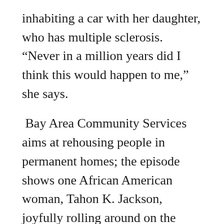inhabiting a car with her daughter, who has multiple sclerosis. “Never in a million years did I think this would happen to me,” she says.
Bay Area Community Services aims at rehousing people in permanent homes; the episode shows one African American woman, Tahon K. Jackson, joyfully rolling around on the carpet of her new apartment.
The third episode, aptly titled “The Invisible,” deals with the stigma associated with being homeless. “People don’t want to look you in the eye,” says one interviewee, Denise Brock, who in her own life went from “eating out of a dumpster” to becoming a caseworker for Flood Ministries, a faith-based